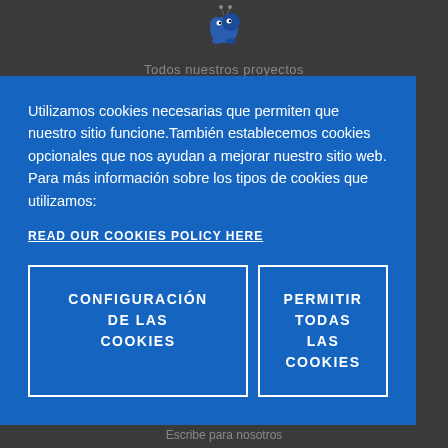[Figure (logo): Small animal/creature mascot logo icon at top center of page]
Todos nuestros proyectos
Utilizamos cookies necesarias que permiten que nuestro sitio funcione.También establecemos cookies opcionales que nos ayudan a mejorar nuestro sitio web. Para más información sobre los tipos de cookies que utilizamos:
READ OUR COOKIES POLICY HERE
CONFIGURACIÓN DE LAS COOKIES
PERMITIR TODAS LAS COOKIES
Escribe para nosotros